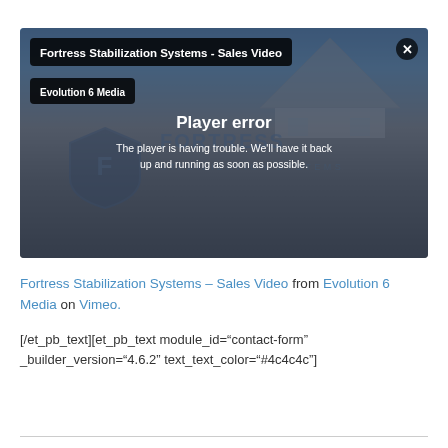[Figure (screenshot): Embedded video player showing a 'Player error' message overlay on a Fortress Stabilization Systems video. The player has a dark top bar with the title 'Fortress Stabilization Systems - Sales Video' and 'Evolution 6 Media' label. The error overlay reads 'Player error' and 'The player is having trouble. We'll have it back up and running as soon as possible.' The background shows the Fortress Stabilization Systems logo on a dark/blue gradient.]
Fortress Stabilization Systems – Sales Video from Evolution 6 Media on Vimeo.
[/et_pb_text][et_pb_text module_id="contact-form" _builder_version="4.6.2" text_text_color="#4c4c4c"]